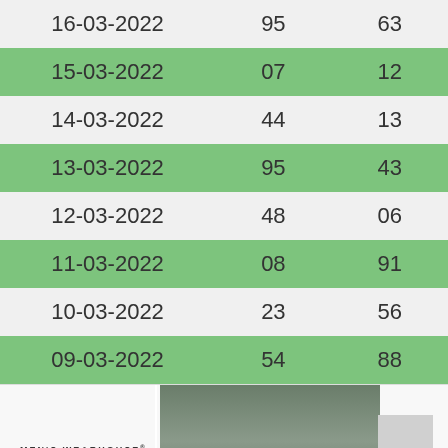| 16-03-2022 | 95 | 63 |
| 15-03-2022 | 07 | 12 |
| 14-03-2022 | 44 | 13 |
| 13-03-2022 | 95 | 43 |
| 12-03-2022 | 48 | 06 |
| 11-03-2022 | 08 | 91 |
| 10-03-2022 | 23 | 56 |
| 09-03-2022 | 54 | 88 |
[Figure (photo): Men's Wearhouse advertisement banner showing a couple in formal wear and a small figure of a man in a suit, with brand name and 'New Lower Prices' tagline, and close/play icons at bottom left.]